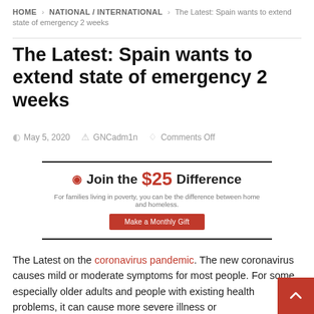HOME > NATIONAL / INTERNATIONAL > The Latest: Spain wants to extend state of emergency 2 weeks
The Latest: Spain wants to extend state of emergency 2 weeks
May 5, 2020   GNCadm1n   Comments Off
[Figure (infographic): Advertisement banner: shield icon, 'Join the $25 Difference', tagline 'For families living in poverty, you can be the difference between home and homeless.', red 'Make a Monthly Gift' button]
The Latest on the coronavirus pandemic. The new coronavirus causes mild or moderate symptoms for most people. For some, especially older adults and people with existing health problems, it can cause more severe illness or